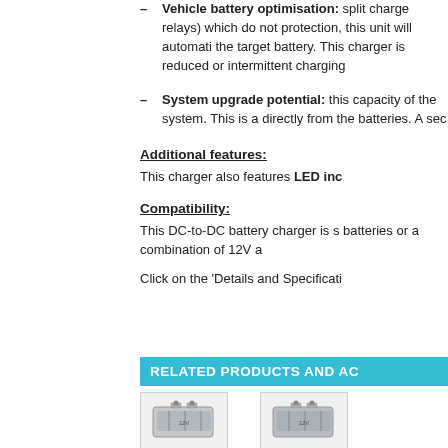Vehicle battery optimisation: split charge relays) which do not protection, this unit will automatically the target battery. This charger is reduced or intermittent charging
System upgrade potential: this capacity of the system. This is a directly from the batteries. A sec
Additional features:
This charger also features LED inc
Compatibility:
This DC-to-DC battery charger is s batteries or a combination of 12V a
Click on the 'Details and Specificati
RELATED PRODUCTS AND AC
[Figure (photo): Two battery product images shown side by side below the related products banner]